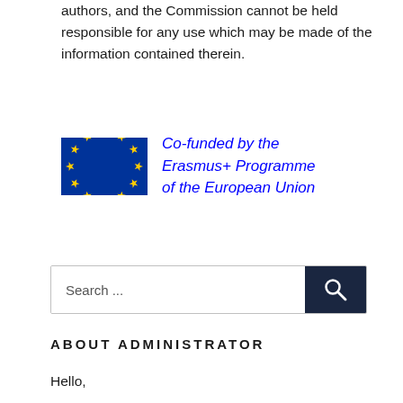authors, and the Commission cannot be held responsible for any use which may be made of the information contained therein.
[Figure (logo): EU flag (blue background with yellow stars in a circle) alongside text reading 'Co-funded by the Erasmus+ Programme of the European Union' in blue italic text]
[Figure (screenshot): Search bar with placeholder text 'Search ...' and a dark navy search icon button on the right]
ABOUT ADMINISTRATOR
Hello,